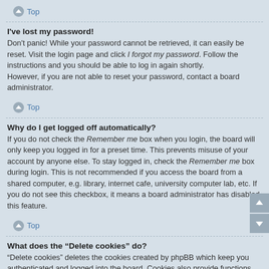Top
I've lost my password!
Don't panic! While your password cannot be retrieved, it can easily be reset. Visit the login page and click I forgot my password. Follow the instructions and you should be able to log in again shortly.
However, if you are not able to reset your password, contact a board administrator.
Top
Why do I get logged off automatically?
If you do not check the Remember me box when you login, the board will only keep you logged in for a preset time. This prevents misuse of your account by anyone else. To stay logged in, check the Remember me box during login. This is not recommended if you access the board from a shared computer, e.g. library, internet cafe, university computer lab, etc. If you do not see this checkbox, it means a board administrator has disabled this feature.
Top
What does the “Delete cookies” do?
“Delete cookies” deletes the cookies created by phpBB which keep you authenticated and logged into the board. Cookies also provide functions such as read tracking if they have been enabled by a board administrator. If you are